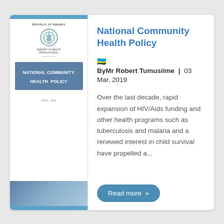[Figure (illustration): Thumbnail of the National Community Health Policy document cover, showing the Republic of Rwanda emblem, Ministry of Health text, and a blue title box reading NATIONAL COMMUNITY HEALTH POLICY]
National Community Health Policy
🇷🇼 ByMr Robert Tumusiime | 03 Mar, 2019
Over the last decade, rapid expansion of HIV/Aids funding and other health programs such as tuberculosis and malaria and a renewed interest in child survival have propelled a...
Read more »